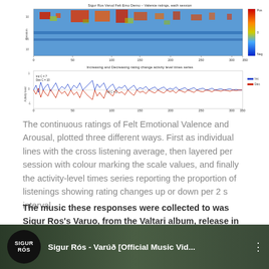[Figure (continuous-plot): Two-panel figure: top panel is a heatmap/raster of Felt Emotional Valence ratings per session for Sigur Ros Varud Felt Emo Demo, with a colour scale from Neg (blue) to Pos (red). Bottom panel shows Increasing and Decreasing rating change activity level time series, with blue (Inc) and red (Dec) lines, and annotations Inc C = 7, Dec C = 10, All C = 2.]
The continuous ratings of Felt Emotional Valence and Arousal, plotted three different ways. First as individual lines with the cross listening average, then layered per session with colour marking the scale values, and finally the activity-level times series reporting the proportion of listenings showing rating changes up or down per 2 s interval.
The music these responses were collected to was Sigur Ros's Varuo, from the Valtari album, release in 2011. These responses are of the listeners first 24 hearings of this particular piece of epic post-rock.
[Figure (screenshot): YouTube video thumbnail showing Sigur Rós – Varúð [Official Music Vid... with the Sigur Rós circular logo on left and a dark atmospheric background.]